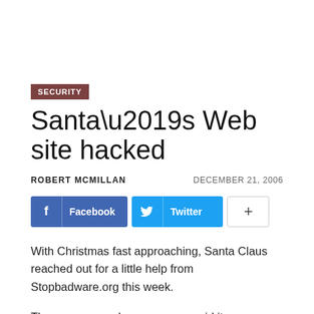SECURITY
Santa’s Web site hacked
ROBERT MCMILLAN   DECEMBER 21, 2006
[Figure (other): Social sharing buttons: Facebook, Twitter, and a plus button]
With Christmas fast approaching, Santa Claus reached out for a little help from Stopbadware.org this week.
The consumer advocacy group said it was approached by an Incline Village, Nevada, man who has legally